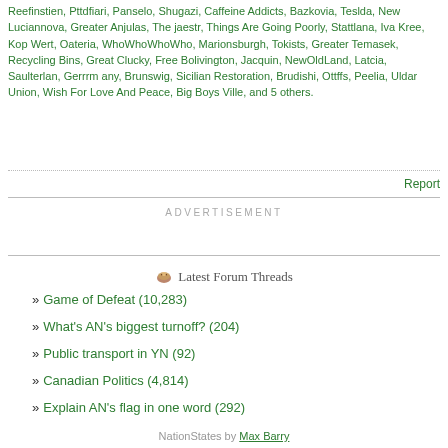Reefinstien, Pttdfiari, Panselo, Shugazi, Caffeine Addicts, Bazkovia, Teslda, New Luciannova, Greater Anjulas, The jaestr, Things Are Going Poorly, Stattlana, Iva Kree, Kop Wert, Oateria, WhoWhoWhoWho, Marionsburgh, Tokists, Greater Temasek, Recycling Bins, Great Clucky, Free Bolivington, Jacquin, NewOldLand, Latcia, Saulterlan, Gerrrm any, Brunswig, Sicilian Restoration, Brudishi, Ottffs, Peelia, Uldar Union, Wish For Love And Peace, Big Boys Ville, and 5 others.
Report
ADVERTISEMENT
Latest Forum Threads
Game of Defeat (10,283)
What's AN's biggest turnoff? (204)
Public transport in YN (92)
Canadian Politics (4,814)
Explain AN's flag in one word (292)
NationStates by Max Barry